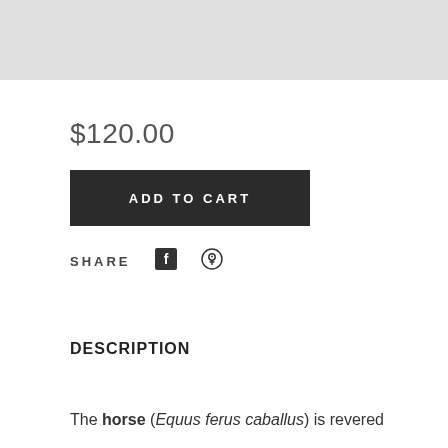[Figure (other): Gray banner/placeholder image area at top of page]
$120.00
ADD TO CART
SHARE
DESCRIPTION
The horse (Equus ferus caballus) is revered